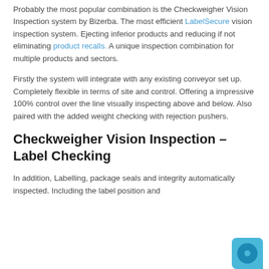Probably the most popular combination is the Checkweigher Vision Inspection system by Bizerba. The most efficient LabelSecure vision inspection system. Ejecting inferior products and reducing if not eliminating product recalls. A unique inspection combination for multiple products and sectors.
Firstly the system will integrate with any existing conveyor set up. Completely flexible in terms of site and control. Offering a impressive 100% control over the line visually inspecting above and below. Also paired with the added weight checking with rejection pushers.
Checkweigher Vision Inspection – Label Checking
In addition, Labelling, package seals and integrity automatically inspected. Including the label position and